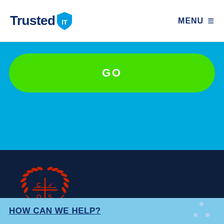[Figure (logo): TrustedIT logo with shield icon and 'Trusted IT' text in dark navy blue]
MENU ≡
[Figure (other): Green rounded GO button on cyan/blue background]
[Figure (logo): CQS certification logo — red laurel wreath with cross and letters C, V, Q, S on dark navy background]
HOW CAN WE HELP?